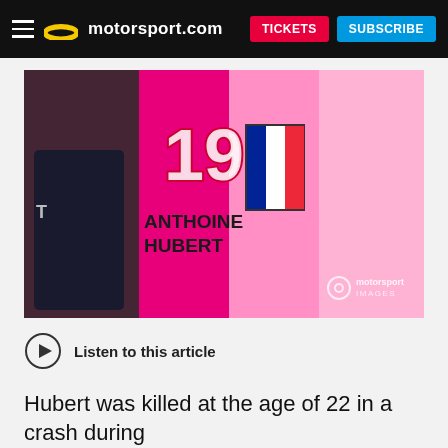motorsport.com  TICKETS  SUBSCRIBE
[Figure (photo): Pink racing banner with number 19 and French flag alongside text reading ANTHOINE HUBERT. A person in dark jacket is visible on the left. Motorsport Images watermark in bottom right corner.]
Listen to this article
Hubert was killed at the age of 22 in a crash during